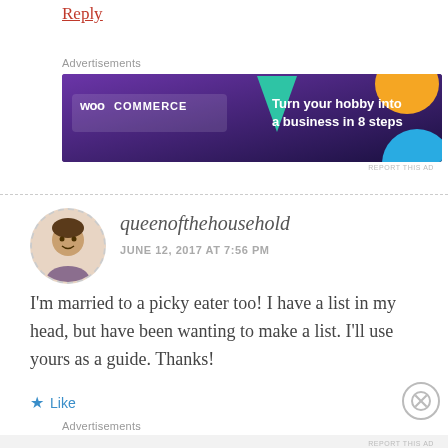Reply
Advertisements
[Figure (screenshot): WooCommerce advertisement banner with purple background, teal triangle, orange and blue circles, text: Turn your hobby into a business in 8 steps]
REPORT THIS AD
queenofthehousehold
JUNE 12, 2017 AT 7:56 PM
I’m married to a picky eater too! I have a list in my head, but have been wanting to make a list. I’ll use yours as a guide. Thanks!
Like
Advertisements
REPORT THIS AD